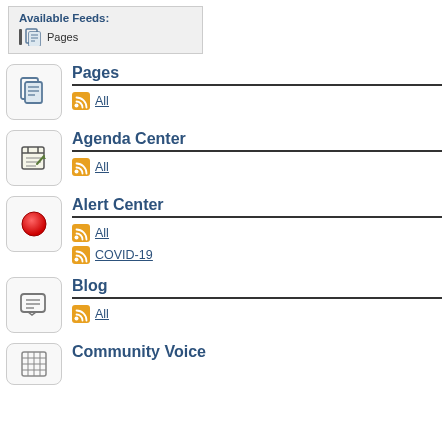Available Feeds:
Pages
Pages
All
Agenda Center
All
Alert Center
All
COVID-19
Blog
All
Community Voice